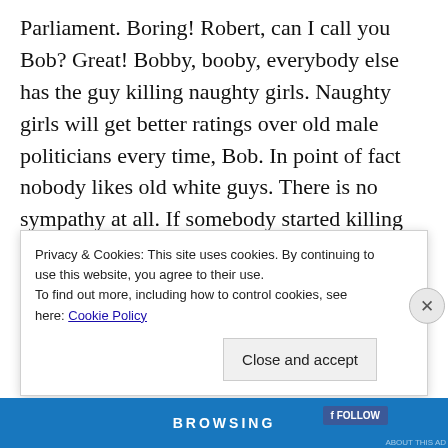Parliament. Boring! Robert, can I call you Bob? Great! Bobby, booby, everybody else has the guy killing naughty girls. Naughty girls will get better ratings over old male politicians every time, Bob. In point of fact nobody likes old white guys. There is no sympathy at all. If somebody started killing old, white politicians, he'd probably get a medal not get thrown in prison. I'm just saying.
Then there's the ending. In Bob's story, Jekyll loses
Privacy & Cookies: This site uses cookies. By continuing to use this website, you agree to their use.
To find out more, including how to control cookies, see here: Cookie Policy
Close and accept